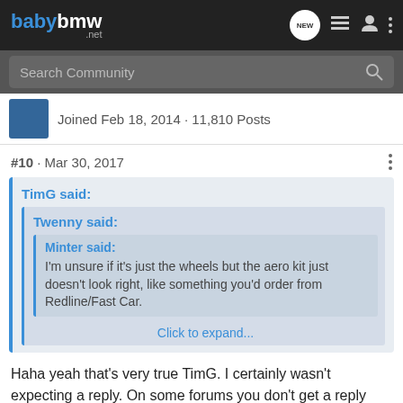babybmw.net
Search Community
Joined Feb 18, 2014 · 11,810 Posts
#10 · Mar 30, 2017
TimG said:
Twenny said:
Minter said:
I'm unsure if it's just the wheels but the aero kit just doesn't look right, like something you'd order from Redline/Fast Car.
Click to expand...
Haha yeah that's very true TimG. I certainly wasn't expecting a reply. On some forums you don't get a reply that day let alone